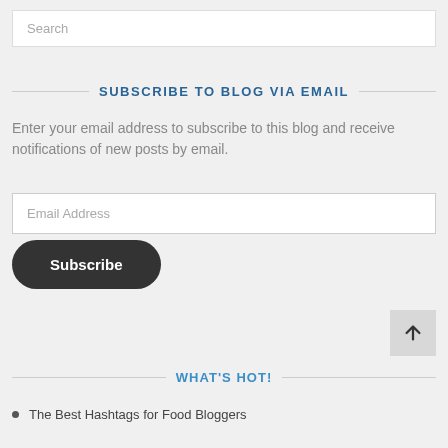Search
SUBSCRIBE TO BLOG VIA EMAIL
Enter your email address to subscribe to this blog and receive notifications of new posts by email.
Email Address
Subscribe
[Figure (other): Arrow up button for scroll to top]
WHAT'S HOT!
The Best Hashtags for Food Bloggers